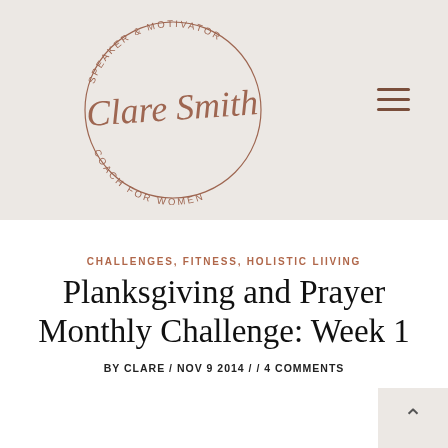[Figure (logo): Clare Smith logo — circular badge with 'SPEAKER & MOTIVATOR' and 'COACH FOR WOMEN' text around a circle, with cursive 'Clare Smith' signature in the center, in brownish-rose tones on beige background]
CHALLENGES, FITNESS, HOLISTIC LIIVING
Planksgiving and Prayer Monthly Challenge: Week 1
BY CLARE / NOV 9 2014 / / 4 COMMENTS